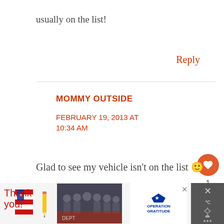usually on the list!
Reply
MOMMY OUTSIDE
FEBRUARY 19, 2013 AT 10:34 AM
Glad to see my vehicle isn't on the list 🙂
[Figure (other): Advertisement banner at bottom: 'Thank you!' text with American flag imagery, group photo of firefighters/military, Operation Gratitude logo, and close/share buttons]